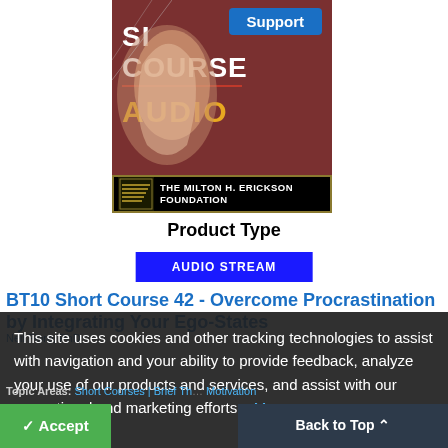[Figure (illustration): Short Course Audio product image with dark red background, 'COURSE AUDIO' text, face silhouette, Support badge in blue, and The Milton H. Erickson Foundation logo banner at bottom]
Product Type
AUDIO STREAM
BT10 Short Course 42 - Overcome Procrastination by Integrating Your Ego-States
Neil Fiore, PhD
This site uses cookies and other tracking technologies to assist with navigation and your ability to provide feedback, analyze your use of our products and services, and assist with our promotional and marketing efforts.
More Information
Topic Areas: Short Courses | Brief Th... Motivation
Accept
Back to Top